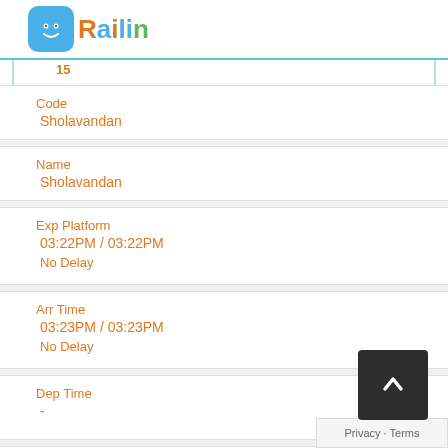Railin
15
| Field | Value |
| --- | --- |
| Code | Sholavandan |
| Name | Sholavandan |
| Exp Platform | 03:22PM / 03:22PM
No Delay |
| Arr Time | 03:23PM / 03:23PM
No Delay |
| Dep Time | - |
| # | 16 |
| Code |  |